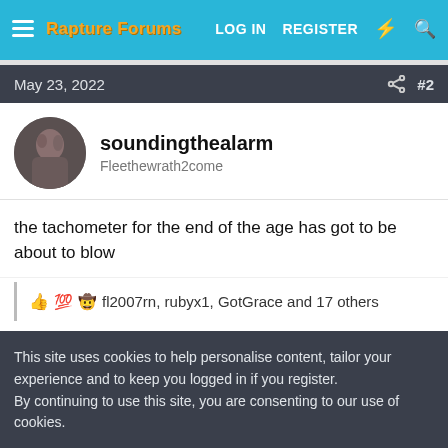Rapture Forums — LOG IN  REGISTER
May 23, 2022  #2
soundingthealarm
Fleethewrath2come
the tachometer for the end of the age has got to be about to blow
fl2007rn, rubyx1, GotGrace and 17 others
This site uses cookies to help personalise content, tailor your experience and to keep you logged in if you register.
By continuing to use this site, you are consenting to our use of cookies.
Accept   Learn more...